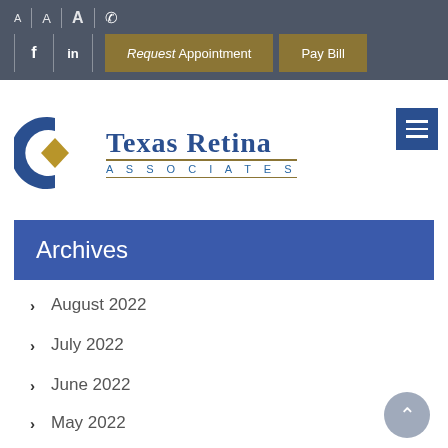Texas Retina Associates website header with font size controls, phone icon, social media links, Request Appointment and Pay Bill buttons
[Figure (logo): Texas Retina Associates logo with blue C-shaped icon and gold diamond, with text Texas Retina Associates]
Archives
August 2022
July 2022
June 2022
May 2022
April 2022